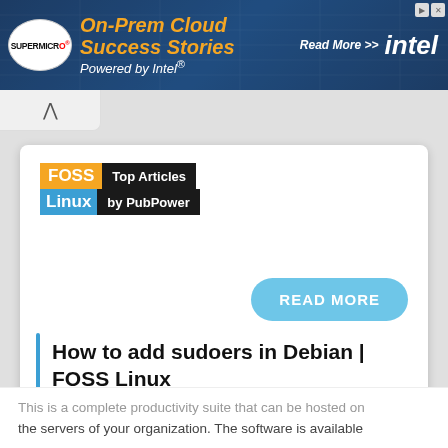[Figure (screenshot): Supermicro and Intel advertisement banner: 'On-Prem Cloud Success Stories Powered by Intel. Read More >>']
[Figure (logo): FOSS Linux Top Articles by PubPower logo]
READ MORE
How to add sudoers in Debian | FOSS Linux
This is a complete productivity suite that can be hosted on the servers of your organization. The software is available